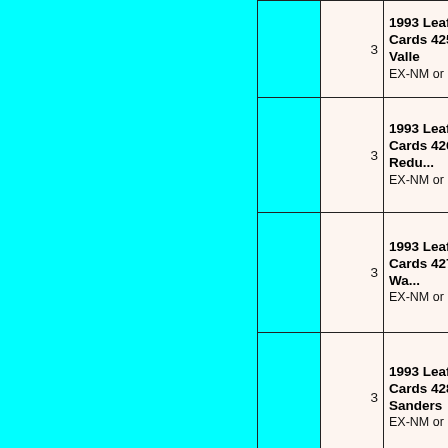| (image) | Qty | Description |
| --- | --- | --- |
|  | 3 | 1993 Leaf Baseball Cards 425 David Valle EX-NM or Better |
|  | 3 | 1993 Leaf Baseball Cards 426 Gary Redus EX-NM or Better |
|  | 3 | 1993 Leaf Baseball Cards 427 Turner Ward EX-NM or Better |
|  | 3 | 1993 Leaf Baseball Cards 428 Reggie Sanders EX-NM or Better |
|  |  | 1993 Leaf Baseball Cards 429 |